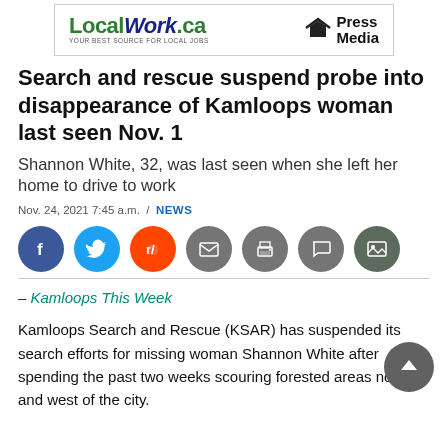[Figure (logo): LocalWork.ca and Press Media advertisement banner]
Search and rescue suspend probe into disappearance of Kamloops woman last seen Nov. 1
Shannon White, 32, was last seen when she left her home to drive to work
Nov. 24, 2021 7:45 a.m. / NEWS
[Figure (infographic): Social sharing icons: Facebook, Twitter, Reddit, Email, Print, Comment, Gallery]
– Kamloops This Week
Kamloops Search and Rescue (KSAR) has suspended its search efforts for missing woman Shannon White after spending the past two weeks scouring forested areas north and west of the city.